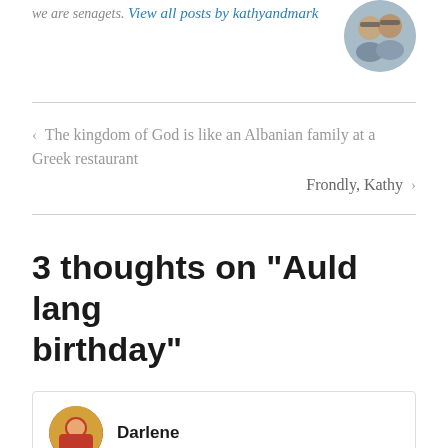View all posts by kathyandmark
[Figure (photo): Circular avatar photo of two people wearing sunglasses outdoors]
< The kingdom of God is like an Albanian family at a Greek restaurant
Frondly, Kathy >
3 thoughts on “Auld lang birthday”
Darlene